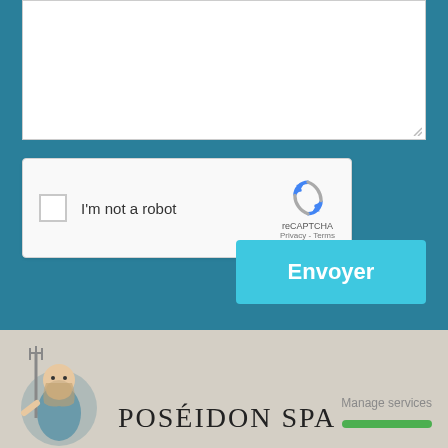[Figure (screenshot): White textarea input box on teal background, with resize handle at bottom-right corner]
[Figure (screenshot): reCAPTCHA widget with checkbox, 'I'm not a robot' label, reCAPTCHA logo, and Privacy/Terms links]
Envoyer
[Figure (logo): Poseidon Spa footer with Greek god logo holding trident on left, 'POSÉIDON SPA' text in center, 'Manage services' text and green bar on right, on beige/tan background]